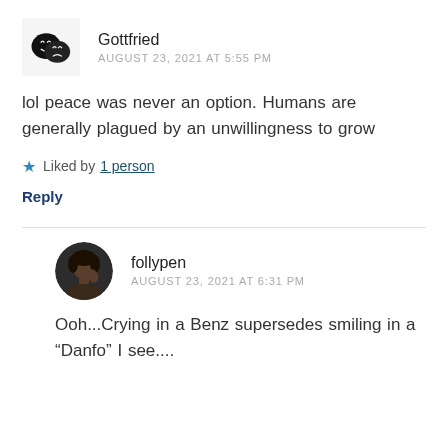Gottfried
AUGUST 23, 2021 AT 5:55 PM
lol peace was never an option. Humans are generally plagued by an unwillingness to grow
Liked by 1 person
Reply
follypen
AUGUST 23, 2021 AT 6:31 PM
Ooh...Crying in a Benz supersedes smiling in a “Danfo” I see....